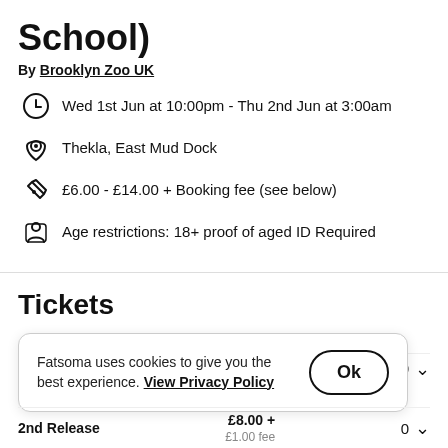School)
By Brooklyn Zoo UK
Wed 1st Jun at 10:00pm - Thu 2nd Jun at 3:00am
Thekla, East Mud Dock
£6.00 - £14.00 + Booking fee (see below)
Age restrictions: 18+ proof of aged ID Required
Tickets
Sold Out
1st Release  £6.00 +  0
Fatsoma uses cookies to give you the best experience. View Privacy Policy  Ok
2nd Release  £8.00 + £1.00 fee  0